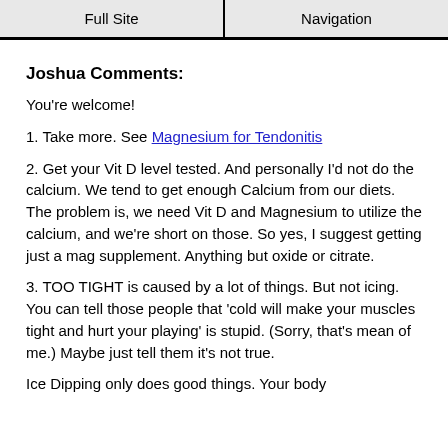Full Site | Navigation
Joshua Comments:
You're welcome!
1. Take more. See Magnesium for Tendonitis
2. Get your Vit D level tested. And personally I'd not do the calcium. We tend to get enough Calcium from our diets. The problem is, we need Vit D and Magnesium to utilize the calcium, and we're short on those. So yes, I suggest getting just a mag supplement. Anything but oxide or citrate.
3. TOO TIGHT is caused by a lot of things. But not icing. You can tell those people that 'cold will make your muscles tight and hurt your playing' is stupid. (Sorry, that's mean of me.) Maybe just tell them it's not true.
Ice Dipping only does good things. Your body